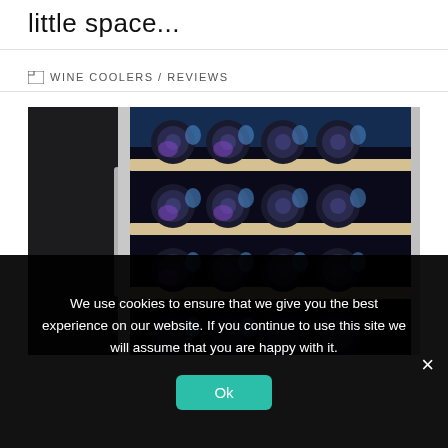little space...
WINE COOLERS / REVIEWS
[Figure (photo): A stainless steel wine cooler/refrigerator with multiple shelves holding wine bottles illuminated by blue LED lighting, showing rows of wine bottles stored horizontally on wooden-trimmed shelves]
We use cookies to ensure that we give you the best experience on our website. If you continue to use this site we will assume that you are happy with it.